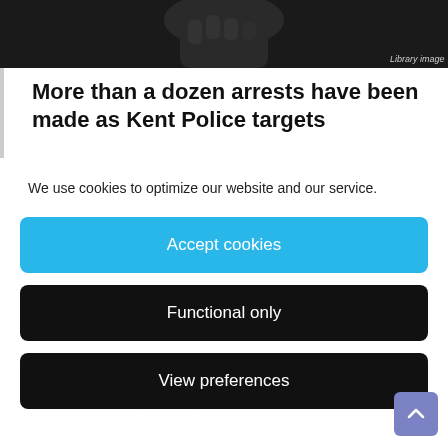[Figure (photo): Dark photo showing a fist or hand in dim lighting, with 'Library image' watermark in lower right corner]
More than a dozen arrests have been made as Kent Police targets
We use cookies to optimize our website and our service.
Accept cookies
Functional only
View preferences
painting a wall, a dozen uninsured e-scooters were seized, and alleged drug dealers were arrested.